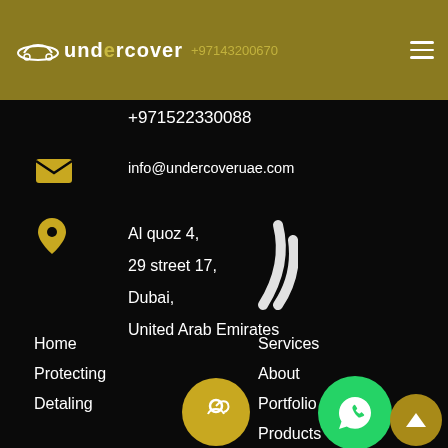undercover | +97143200670
+971522330088
info@undercoveruae.com
Al quoz 4,
29 street 17,
Dubai,
United Arab Emirates
Home
Protecting
Detaling
Services
About
Portfolio
Products